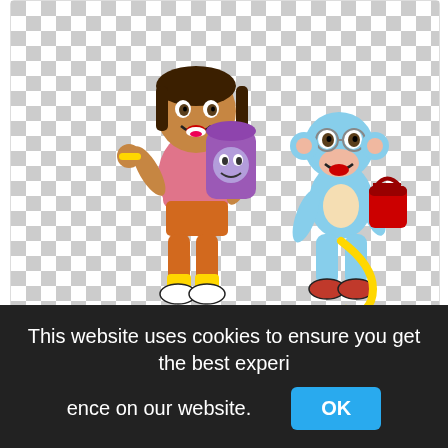[Figure (illustration): Cartoon illustration of Dora the Explorer and Boots the monkey walking, on a transparent (checkerboard) background]
Png Royalty Free Download Bookbag Drawing Dora Character, Dora Clip Art,skull drawing png
693x533px
This website uses cookies to ensure you get the best experience on our website.